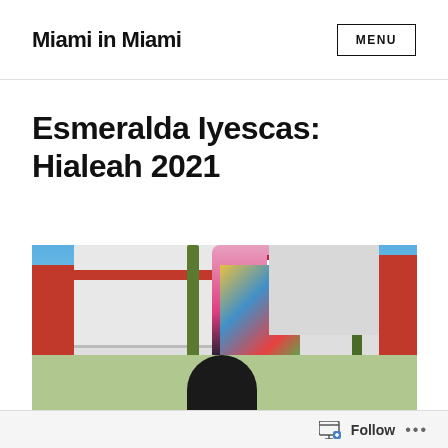Miami in Miami
Esmeralda Iyescas: Hialeah 2021
[Figure (photo): Outdoor photo showing colorful murals on buildings in Hialeah, with a large flamingo mural, an American flag mural, palm trees, and a person standing in foreground wearing sunglasses.]
Follow